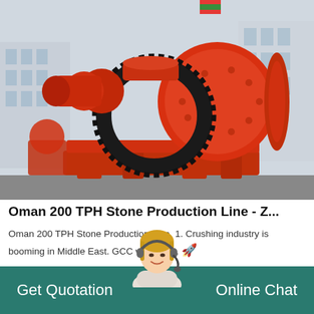[Figure (photo): Large orange industrial ball mill machine outdoors, with large gear ring visible, mounted on heavy steel frame, industrial facility in background]
Oman 200 TPH Stone Production Line - Z...
Oman 200 TPH Stone Production Line. 1. Crushing industry is booming in Middle East. GCC will invest.
GET PRICE →
[Figure (photo): Customer service agent, blonde woman wearing headset, smiling]
Get Quotation    Online Chat